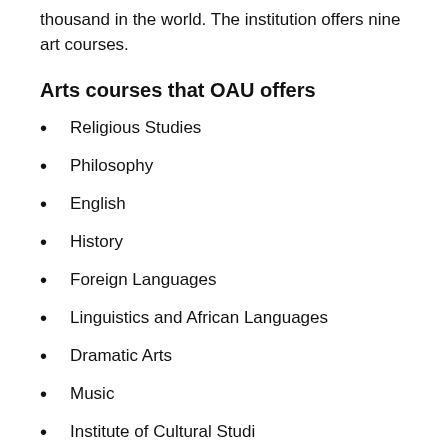thousand in the world. The institution offers nine art courses.
Arts courses that OAU offers
Religious Studies
Philosophy
English
History
Foreign Languages
Linguistics and African Languages
Dramatic Arts
Music
Institute of Cultural Studies